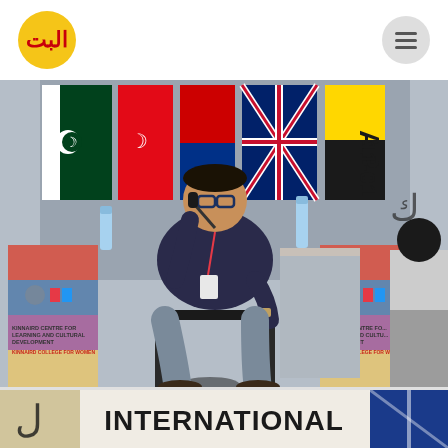Website header with Arabic/Urdu logo and menu icon
[Figure (photo): A man wearing glasses and a lanyard sits on a chair on a stage, speaking into a microphone. Behind him are multiple international flags including Pakistan and UK flags. Two banner stands for 'Kinnaird Centre for Learning and Cultural Development, Kinnaird College for Women' are visible on either side. Text on backdrop reads 'AP 11-01'. Another person is partially visible on the right.]
[Figure (photo): Partial bottom photo showing another scene with the text 'INTERNATIONAL' visible, along with decorative calligraphy and a partial banner.]